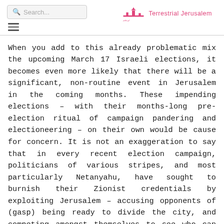Search... | Terrestrial Jerusalem
When you add to this already problematic mix the upcoming March 17 Israeli elections, it becomes even more likely that there will be a significant, non-routine event in Jerusalem in the coming months. These impending elections – with their months-long pre-election ritual of campaign pandering and electioneering – on their own would be cause for concern. It is not an exaggeration to say that in every recent election campaign, politicians of various stripes, and most particularly Netanyahu, have sought to burnish their Zionist credentials by exploiting Jerusalem – accusing opponents of (gasp) being ready to divide the city, and competing amongst themselves to see who can stake out the hardest line position in the city.